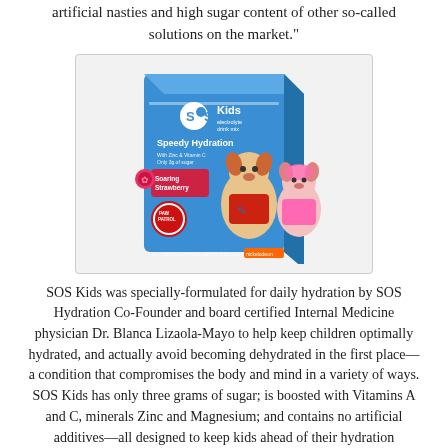artificial nasties and high sugar content of other so-called solutions on the market."
[Figure (photo): Product photo of SOS Kids electrolyte drink mix box - Soaring Strawberry flavor, blue packaging featuring PAW Patrol characters (Marshall and Skye), with text 'Speedy Hydration', 'With Zinc & Vitamin C', 'Only 3g of sugar']
SOS Kids was specially-formulated for daily hydration by SOS Hydration Co-Founder and board certified Internal Medicine physician Dr. Blanca Lizaola-Mayo to help keep children optimally hydrated, and actually avoid becoming dehydrated in the first place—a condition that compromises the body and mind in a variety of ways. SOS Kids has only three grams of sugar; is boosted with Vitamins A and C, minerals Zinc and Magnesium; and contains no artificial additives—all designed to keep kids ahead of their hydration